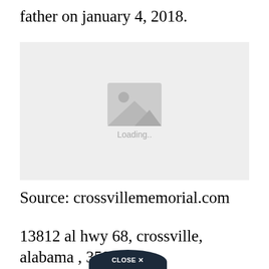father on january 4, 2018.
[Figure (photo): Image placeholder with loading icon and 'Loading..' text on a light gray background]
Source: crossvillememorial.com
13812 al hwy 68, crossville, alabama , 35962 , united states abou ⁠⁠⁠ encourage you to